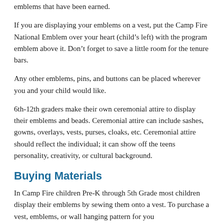emblems that have been earned.
If you are displaying your emblems on a vest, put the Camp Fire National Emblem over your heart (child’s left) with the program emblem above it. Don’t forget to save a little room for the tenure bars.
Any other emblems, pins, and buttons can be placed wherever you and your child would like.
6th†12th graders make their own ceremonial attire to display their emblems and beads. Ceremonial attire can include sashes, gowns, overlays, vests, purses, cloaks, etc. Ceremonial attire should reflect the individual; it can show off the teens personality, creativity, or cultural background.
Buying Materials
In Camp Fire children Pre-K through 5th Grade most children display their emblems by sewing them onto a vest. To purchase a vest, emblems, or wall hanging pattern for you